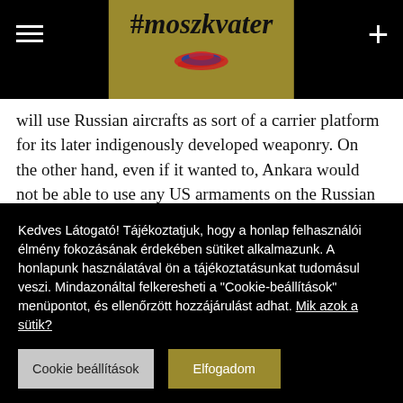#moszkvater
will use Russian aircrafts as sort of a carrier platform for its later indigenously developed weaponry. On the other hand, even if it wanted to, Ankara would not be able to use any US armaments on the Russian planes, as their integration would require Washington’s consent, which it is unlikely to get approval for such a deal. On the other hand, even if it wanted to, Ankara
Kedves Látogató! Tájékoztatjuk, hogy a honlap felhasználói élmény fokozásának érdekében sütiket alkalmazunk. A honlapunk használatával ön a tájékoztatásunkat tudomásul veszi. Mindazonáltal felkeresheti a “Cookie-beállítások” menüpontot, és ellenőrzött hozzájárulást adhat. Mik azok a sütik?